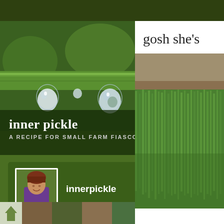[Figure (photo): Close-up photo of a green plant stem with water droplets hanging underneath, dark green bokeh background]
inner pickle
A RECIPE FOR SMALL FARM FIASCOS
[Figure (photo): Profile avatar photo of a person wearing purple top, smiling, against outdoor background]
innerpickle
21 FOLLOWING
191 FOLLOWERS
gosh she's
[Figure (photo): Photo of close-up green grass lawn]